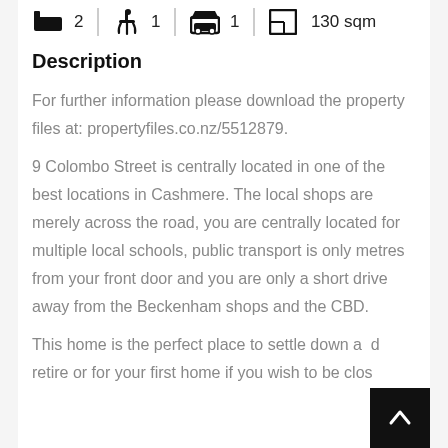[Figure (infographic): Property icons row: bed icon with count 2, shower icon with count 1, garage/car icon with count 1, floor plan icon with 130 sqm]
Description
For further information please download the property files at: propertyfiles.co.nz/5512879.
9 Colombo Street is centrally located in one of the best locations in Cashmere. The local shops are merely across the road, you are centrally located for multiple local schools, public transport is only metres from your front door and you are only a short drive away from the Beckenham shops and the CBD.
This home is the perfect place to settle down and retire or for your first home if you wish to be close